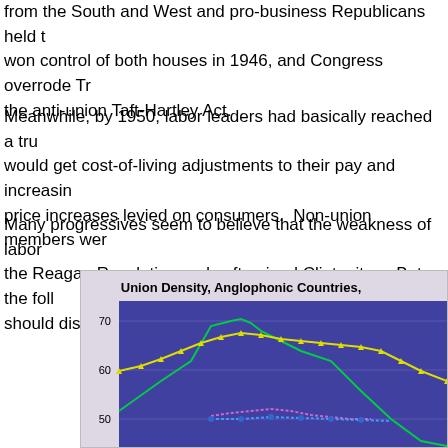from the South and West and pro-business Republicans held the won control of both houses in 1946, and Congress overrode Tru the anti-union Taft-Hartley Act.
Meanwhile, by 1950, labor leaders had basically reached a truc would get cost-of-living adjustments to their pay and increasing price increases levied on consumers.  Non-union members wer
Many progressives seem to believe that the weakness of labor the Reagan Revolution and soft-spined Clintonites.  But the fol should disabuse them of this fantasy:
[Figure (line-chart): Line chart showing union density over time for Anglophonic countries. Y-axis visible from 50 to 70. Multiple lines visible including green (peaks near 70), yellow with triangle markers (around 60-65), and purple/blue dotted lines (around 50).]